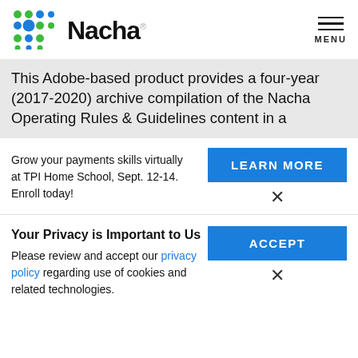[Figure (logo): Nacha logo with colorful dot grid and stylized Nacha wordmark]
MENU
This Adobe-based product provides a four-year (2017-2020) archive compilation of the Nacha Operating Rules & Guidelines content in a
Grow your payments skills virtually at TPI Home School, Sept. 12-14. Enroll today!
LEARN MORE
×
Your Privacy is Important to Us
Please review and accept our privacy policy regarding use of cookies and related technologies.
ACCEPT
×